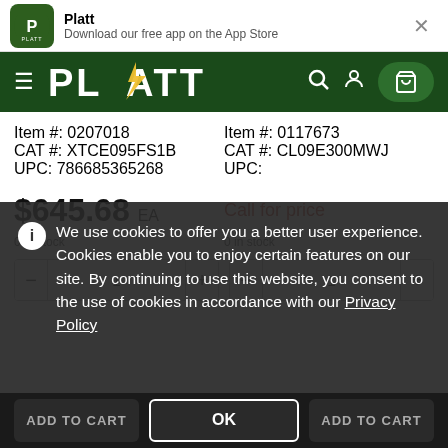Platt — Download our free app on the App Store
[Figure (logo): Platt green logo and navigation bar with hamburger menu, PLATT wordmark, search icon, user icon, and cart button]
Item #: 0207018
CAT #: XTCE095FS1B
UPC: 786685365268
Item #: 0117673
CAT #: CL09E300MWJ
UPC:
$645.68  EA
Call for price
0 in stock
0 in stock
We use cookies to offer you a better user experience. Cookies enable you to enjoy certain features on our site. By continuing to use this website, you consent to the use of cookies in accordance with our Privacy Policy
OK
ADD TO CART
ADD TO CART